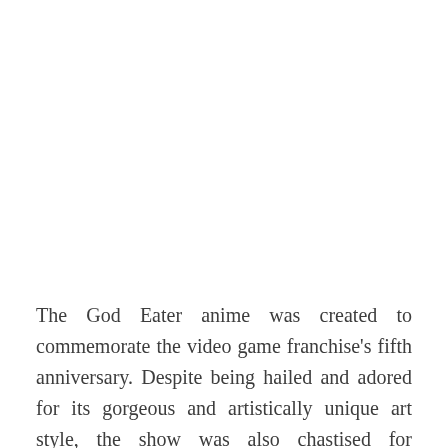The God Eater anime was created to commemorate the video game franchise's fifth anniversary. Despite being hailed and adored for its gorgeous and artistically unique art style, the show was also chastised for production troubles that caused the final four episodes to run late.